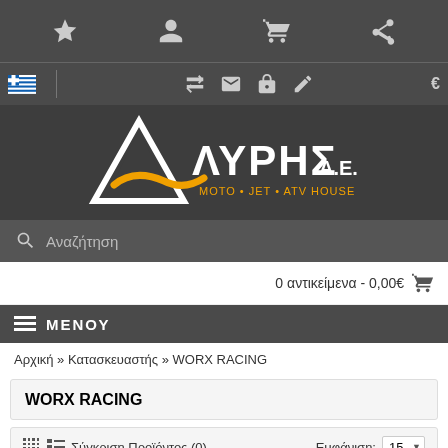[Figure (screenshot): Top navigation icon bar with star (favorites), user account, shopping cart, and share icons on dark gray background]
[Figure (screenshot): Secondary navigation bar with Greek flag, transfer/arrows icon, email icon, lock icon, edit icon, and euro currency symbol]
[Figure (logo): ΛΥΡΗΣ Α.Ε. MOTO JET ATV HOUSE logo with white triangle/lambda and orange wave on dark gray background]
Αναζήτηση
0 αντικείμενα - 0,00€
ΜΕΝΟΥ
Αρχική » Κατασκευαστής » WORX RACING
WORX RACING
Σύγκριση Προϊόντος (0)   Εμφάνιση:  15